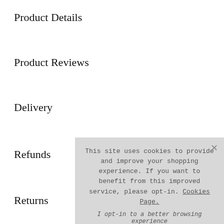Product Details
Product Reviews
Delivery
Refunds
Returns
• Product Code [...]
• Colour Blue
• Width 52.0 cm
• Weight 1
• Length 10.05 m
• Horizontal Pattern Repeat 0.0 cm
[Figure (screenshot): Cookie consent overlay popup with text: 'This site uses cookies to provide and improve your shopping experience. If you want to benefit from this improved service, please opt-in. Cookies Page.' and 'I opt-in to a better browsing experience' link, plus an 'Accept Cookies' button.]